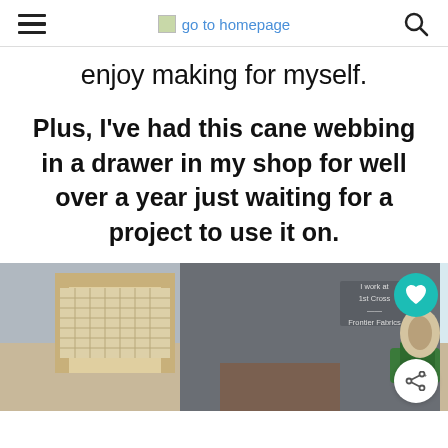go to homepage
enjoy making for myself.
Plus, I've had this cane webbing in a drawer in my shop for well over a year just waiting for a project to use it on.
[Figure (photo): Person in a gray hoodie working with cane webbing on a workshop table, with a green tool visible at right.]